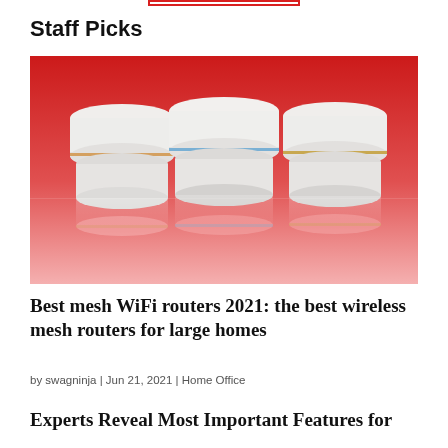Staff Picks
[Figure (photo): Three white cylindrical mesh WiFi router devices stacked in pairs, placed on a reflective surface against a bright red background. The routers have thin colored LED rings around their middles.]
Best mesh WiFi routers 2021: the best wireless mesh routers for large homes
by swagninja | Jun 21, 2021 | Home Office
Experts Reveal Most Important Features for